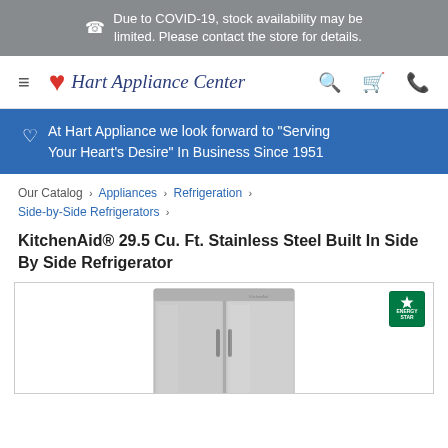Due to COVID-19, stock availability may be limited. Please contact the store for details.
[Figure (logo): Hart Appliance Center logo with red heart icon and italic text]
At Hart Appliance we look forward to "Serving Your Heart's Desire" In Business Since 1951
Our Catalog › Appliances › Refrigeration › Side-by-Side Refrigerators ›
KitchenAid® 29.5 Cu. Ft. Stainless Steel Built In Side By Side Refrigerator
[Figure (photo): Stainless steel KitchenAid built-in side-by-side refrigerator with Energy Star badge in top right corner]